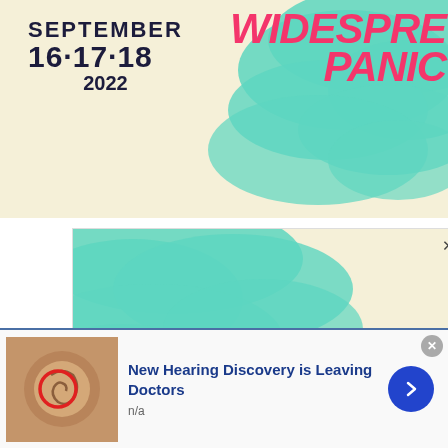[Figure (illustration): Widespread Panic concert advertisement banner. Cream/yellow background with teal cloud illustration. Text: SEPTEMBER 16·17·18 2022 and WIDESPREAD PANIC in pink/magenta stylized lettering. Top banner ad.]
[Figure (illustration): Second Widespread Panic ad (vertical/side format). Same cream background, teal clouds top, WIDESPREAD PANIC in large pink italic letters, SEPTEMBER 16·17·18 2022 in dark bold text. Has close X button and infolinks label.]
[Figure (illustration): Bottom advertisement bar: New Hearing Discovery is Leaving Doctors. Shows ear anatomy thumbnail image with red circle highlight. Blue arrow button on right. Has close X button.]
New Hearing Discovery is Leaving Doctors
n/a